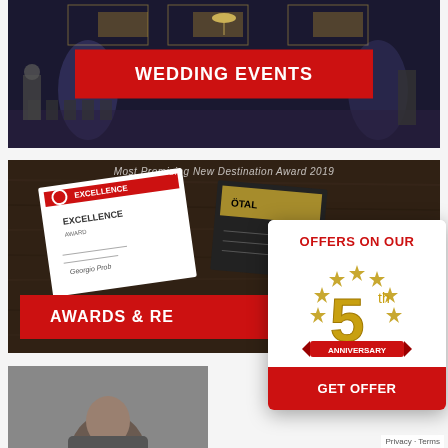[Figure (photo): Wedding banquet hall interior with chandeliers and stage lighting, with a red button overlay reading WEDDING EVENTS]
WEDDING EVENTS
[Figure (photo): Award certificates on a wooden table. Text overlay: Most Promising New Destination Award 2019, and AWARDS & RECOGNITIONS button in red]
Most Promising New Destination Award 2019
AWARDS & RECOGNITIONS
[Figure (infographic): White popup card showing OFFERS ON OUR with a golden 5th Anniversary badge and a red GET OFFER button]
OFFERS ON OUR
5th ANNIVERSARY
GET OFFER
[Figure (photo): Bottom portion of a person's photo]
Privacy · Terms